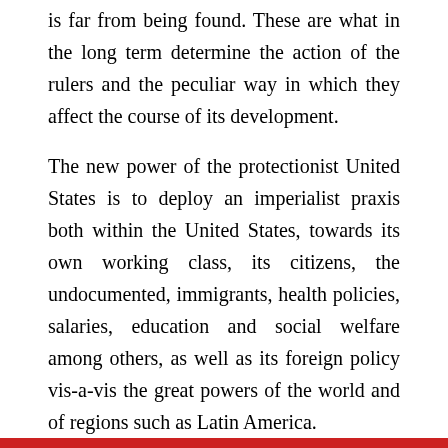is far from being found. These are what in the long term determine the action of the rulers and the peculiar way in which they affect the course of its development.
The new power of the protectionist United States is to deploy an imperialist praxis both within the United States, towards its own working class, its citizens, the undocumented, immigrants, health policies, salaries, education and social welfare among others, as well as its foreign policy vis-a-vis the great powers of the world and of regions such as Latin America.
Conclusion
In short, more than a crisis of globalization or of the “free market” economy linked to the neoliberal capitalist practices, the current systemic and civilizational crisis is part of a secular